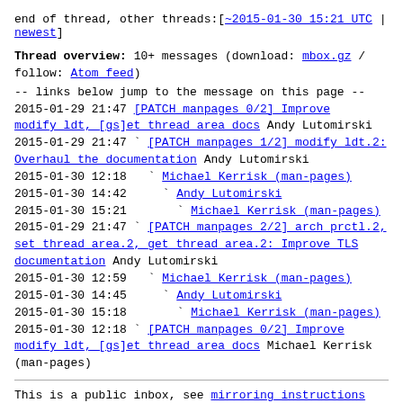end of thread, other threads:[~2015-01-30 15:21 UTC | newest]
Thread overview: 10+ messages (download: mbox.gz / follow: Atom feed)
-- links below jump to the message on this page --
2015-01-29 21:47 [PATCH manpages 0/2] Improve modify ldt, [gs]et thread area docs Andy Lutomirski
2015-01-29 21:47 ` [PATCH manpages 1/2] modify ldt.2: Overhaul the documentation Andy Lutomirski
2015-01-30 12:18   ` Michael Kerrisk (man-pages)
2015-01-30 14:42     ` Andy Lutomirski
2015-01-30 15:21       ` Michael Kerrisk (man-pages)
2015-01-29 21:47 ` [PATCH manpages 2/2] arch prctl.2, set thread area.2, get thread area.2: Improve TLS documentation Andy Lutomirski
2015-01-30 12:59   ` Michael Kerrisk (man-pages)
2015-01-30 14:45     ` Andy Lutomirski
2015-01-30 15:18       ` Michael Kerrisk (man-pages)
2015-01-30 12:18 ` [PATCH manpages 0/2] Improve modify ldt, [gs]et thread area docs Michael Kerrisk (man-pages)
This is a public inbox, see mirroring instructions for how to clone and mirror all data and code used for this inbox;
as well as URLs for NNTP newsgroup(s).